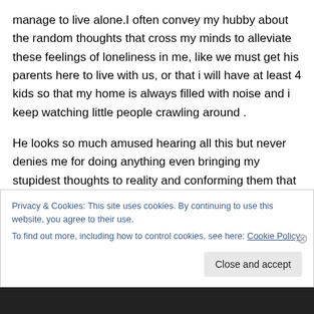manage to live alone.I often convey my hubby about the random thoughts that cross my minds to alleviate these feelings of loneliness in me, like we must get his parents here to live with us, or that i will have at least 4 kids so that my home is always filled with noise and i keep watching little people crawling around .
He looks so much amused hearing all this but never denies me for doing anything even bringing my stupidest thoughts to reality and conforming them that they will be done.
Privacy & Cookies: This site uses cookies. By continuing to use this website, you agree to their use.
To find out more, including how to control cookies, see here: Cookie Policy